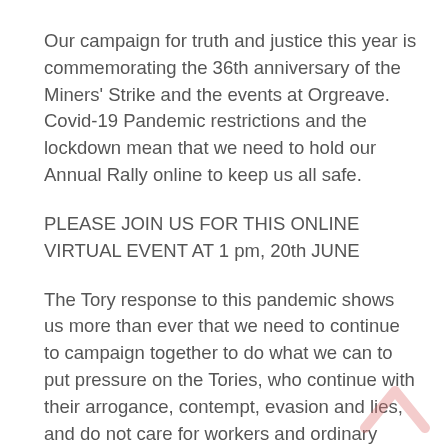Our campaign for truth and justice this year is commemorating the 36th anniversary of the Miners' Strike and the events at Orgreave. Covid-19 Pandemic restrictions and the lockdown mean that we need to hold our Annual Rally online to keep us all safe.
PLEASE JOIN US FOR THIS ONLINE VIRTUAL EVENT AT 1 pm, 20th JUNE
The Tory response to this pandemic shows us more than ever that we need to continue to campaign together to do what we can to put pressure on the Tories, who continue with their arrogance, contempt, evasion and lies, and do not care for workers and ordinary people. Please help us and support our call for a Public Inquiry for Truth and